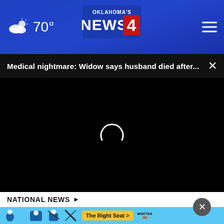70° Oklahoma's News 4
Medical nightmare: Widow says husband died after...
[Figure (screenshot): Black video player area with a loading spinner (white arc) in the center]
NATIONAL NEWS ›
[Figure (infographic): NHTSA car seat safety advertisement with blue background, showing child seat icons and the text 'The Right Seat >' and NHTSA logo]